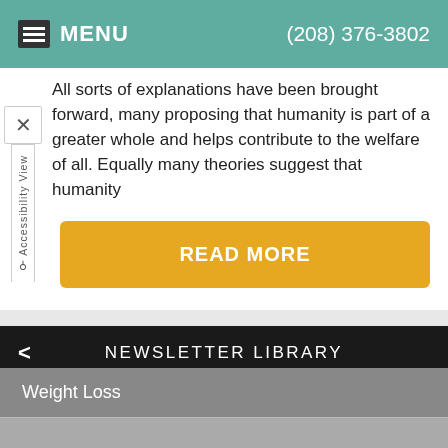MENU  (208) 376-3802
All sorts of explanations have been brought forward, many proposing that humanity is part of a greater whole and helps contribute to the welfare of all. Equally many theories suggest that humanity
READ MORE
1  Last >>
NEWSLETTER LIBRARY
Weight Loss